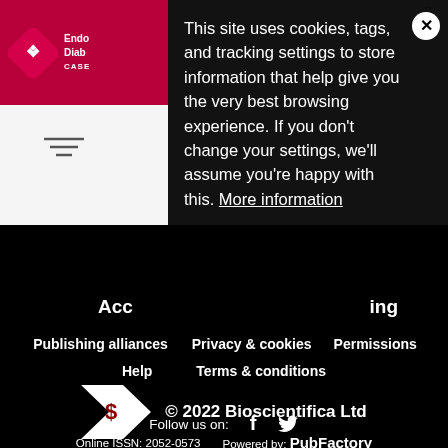[Figure (screenshot): Website screenshot showing a cookie consent banner overlay on a medical journal website (Endocrinology, Diabetes & Cases - Bioscientifica). The banner has dark background with white text. Below are footer navigation links, copyright info, social media links, and ISSN details.]
This site uses cookies, tags, and tracking settings to store information that help give you the very best browsing experience. If you don't change your settings, we'll assume you're happy with this. More information
Publishing alliances
Privacy & cookies
Permissions
Help
Terms & conditions
© 2022 Bioscientifica Ltd
Follow us on:
Online ISSN: 2052-0573   Powered by: PubFactory